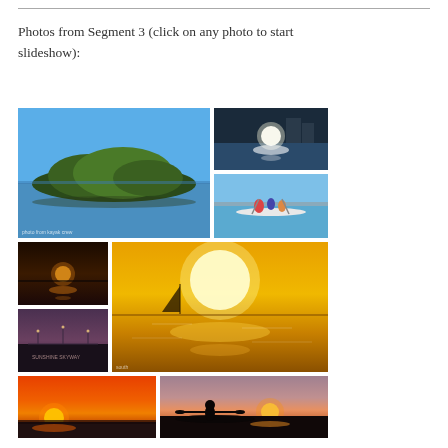Photos from Segment 3 (click on any photo to start slideshow):
[Figure (photo): Large mangrove island in calm blue water under clear blue sky]
[Figure (photo): Sun glare over water with buildings/hotel in background]
[Figure (photo): Kayakers or paddleboarders on blue water near shoreline]
[Figure (photo): Sunset over water with sun near horizon, dark tones]
[Figure (photo): Golden sunset with sailboat silhouette on calm water]
[Figure (photo): Dusk/evening scene with bridge and city lights reflecting on water]
[Figure (photo): Orange sunset with sun just above horizon over water]
[Figure (photo): Sunset silhouette of kayaker on water]